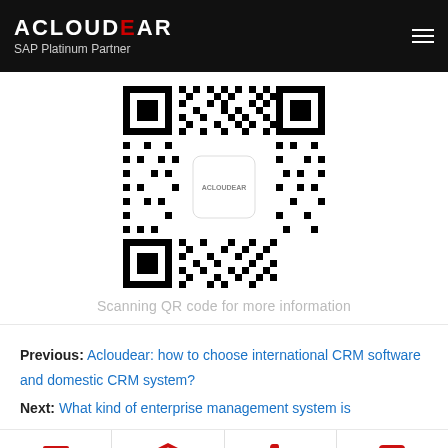ACLOUDEAR SAP Platinum Partner
[Figure (other): QR code with ACLOUDEAR logo in center]
Scanning QR code for more information
Previous: Acloudear: how to choose international CRM software and domestic CRM system?
Next: What kind of enterprise management system is
[Figure (infographic): Footer navigation bar with four icons: monitor (red), price tag (red), phone (red), chat (red), each with Chinese label text]